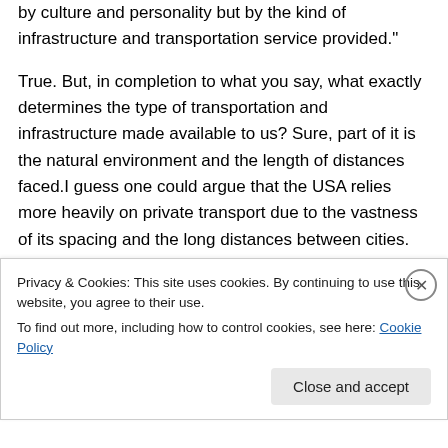by culture and personality but by the kind of infrastructure and transportation service provided."

True. But, in completion to what you say, what exactly determines the type of transportation and infrastructure made available to us? Sure, part of it is the natural environment and the length of distances faced.I guess one could argue that the USA relies more heavily on private transport due to the vastness of its spacing and the long distances between cities. Yet, one can't argue
Privacy & Cookies: This site uses cookies. By continuing to use this website, you agree to their use.
To find out more, including how to control cookies, see here: Cookie Policy